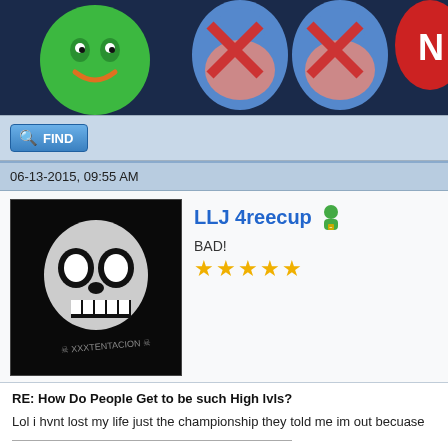[Figure (illustration): Top banner with cartoon characters on dark blue background: green blob, two blue characters with red X marks, red N character]
FIND
06-13-2015, 09:55 AM
[Figure (photo): Avatar: skull face illustration on black background]
LLJ 4reecup   BAD!   ★★★★★
RE: How Do People Get to be such High lvls?
Lol i hvnt lost my life just the championship they told me im out becuase
Long live Jahseh
FIND
06-13-2015, 10:23 AM
[Figure (illustration): Avatar: purple ninja/blob character with glowing yellow eyes on dark space background, label reads Şoñá Çóól]
Şoñá Çőől   BAD!   ★★★★★
RE: How Do People Get to be such High lvls?